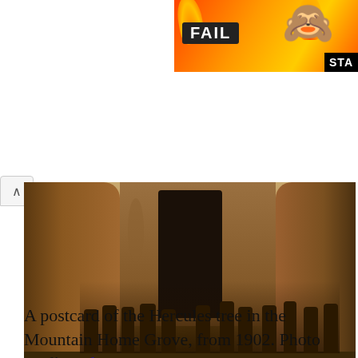[Figure (photo): Advertisement banner with colorful fire background, 'FAIL' text in bold white letters, a cartoon blonde woman covering her face, and 'STA' text in black box on dark background]
[Figure (photo): Sepia-toned historical postcard photograph from 1902 of the Hercules tree in Mountain Home Grove, showing a large hollowed-out giant sequoia tree with a door-sized opening. A group of approximately 15 people in period clothing are gathered in front of and around the base of the massive tree.]
A postcard of the Hercules tree in the Mountain Home Grove, from 1902. Photo credit: unknown